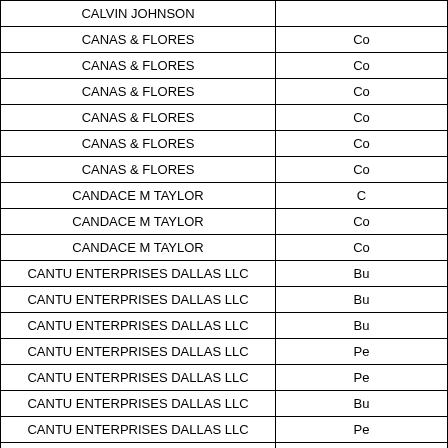| CALVIN JOHNSON |  |
| CANAS & FLORES | Co |
| CANAS & FLORES | Co |
| CANAS & FLORES | Co |
| CANAS & FLORES | Co |
| CANAS & FLORES | Co |
| CANAS & FLORES | Co |
| CANDACE M TAYLOR | C |
| CANDACE M TAYLOR | Co |
| CANDACE M TAYLOR | Co |
| CANTU ENTERPRISES DALLAS LLC | Bu |
| CANTU ENTERPRISES DALLAS LLC | Bu |
| CANTU ENTERPRISES DALLAS LLC | Bu |
| CANTU ENTERPRISES DALLAS LLC | Pe |
| CANTU ENTERPRISES DALLAS LLC | Pe |
| CANTU ENTERPRISES DALLAS LLC | Bu |
| CANTU ENTERPRISES DALLAS LLC | Pe |
| CANTU ENTERPRISES DALLAS LLC | Bu |
| CANTU ENTERPRISES DALLAS LLC | Bu |
| CANTU ENTERPRISES DALLAS LLC | Bu |
| CANTU ENTERPRISES DALLAS LLC | Bu |
| CANTU ENTERPRISES DALLAS LLC | Bu |
| CANTU ENTERPRISES DALLAS LLC | Bu |